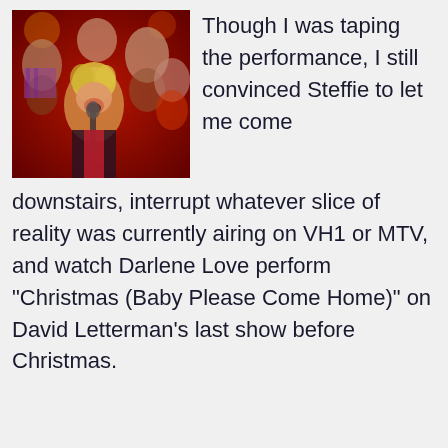[Figure (photo): A woman singing on stage with other performers in the background, appears to be a TV performance with red and festive lighting.]
Though I was taping the performance, I still convinced Steffie to let me come downstairs, interrupt whatever slice of reality was currently airing on VH1 or MTV, and watch Darlene Love perform “Christmas (Baby Please Come Home)” on David Letterman’s last show before Christmas.